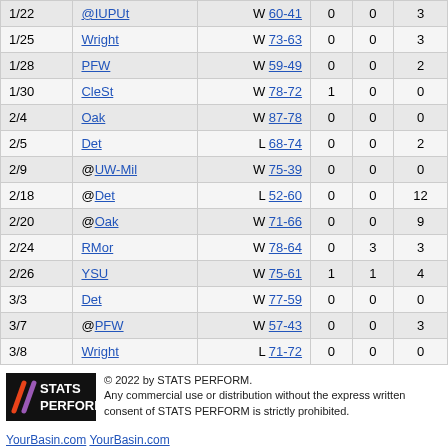| Date | Opponent | Score | Col4 | Col5 | Col6 |
| --- | --- | --- | --- | --- | --- |
| 1/22 | @IUPUt | W 60-41 | 0 | 0 | 3 |
| 1/25 | Wright | W 73-63 | 0 | 0 | 3 |
| 1/28 | PFW | W 59-49 | 0 | 0 | 2 |
| 1/30 | CleSt | W 78-72 | 1 | 0 | 0 |
| 2/4 | Oak | W 87-78 | 0 | 0 | 0 |
| 2/5 | Det | L 68-74 | 0 | 0 | 2 |
| 2/9 | @UW-Mil | W 75-39 | 0 | 0 | 0 |
| 2/18 | @Det | L 52-60 | 0 | 0 | 12 |
| 2/20 | @Oak | W 71-66 | 0 | 0 | 9 |
| 2/24 | RMor | W 78-64 | 0 | 3 | 3 |
| 2/26 | YSU | W 75-61 | 1 | 1 | 4 |
| 3/3 | Det | W 77-59 | 0 | 0 | 0 |
| 3/7 | @PFW | W 57-43 | 0 | 0 | 3 |
| 3/8 | Wright | L 71-72 | 0 | 0 | 0 |
[Figure (logo): STATS PERFORM logo with colored slashes on black background]
© 2022 by STATS PERFORM. Any commercial use or distribution without the express written consent of STATS PERFORM is strictly prohibited.
YourBasin.com YourBasin.com Nexstar Broadcasting Group Inc